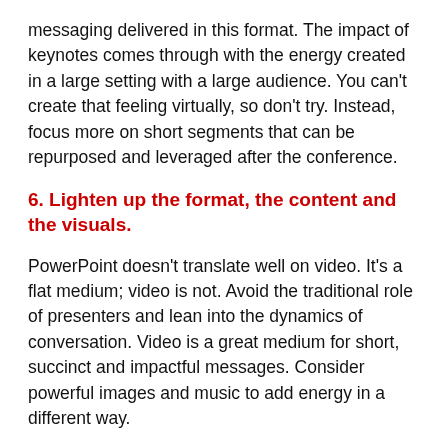messaging delivered in this format. The impact of keynotes comes through with the energy created in a large setting with a large audience. You can't create that feeling virtually, so don't try. Instead, focus more on short segments that can be repurposed and leveraged after the conference.
6. Lighten up the format, the content and the visuals.
PowerPoint doesn't translate well on video. It's a flat medium; video is not. Avoid the traditional role of presenters and lean into the dynamics of conversation. Video is a great medium for short, succinct and impactful messages. Consider powerful images and music to add energy in a different way.
Video poses further challenges for an built-in energy and...